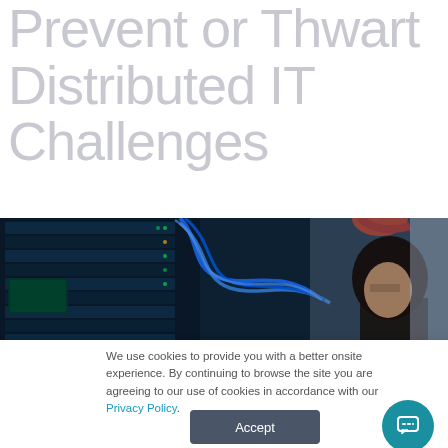Prevent or Thwart Distributed IT Challenges
[Figure (photo): A woman working in a server room, inspecting network cables and rack-mounted equipment with blue ethernet cables visible]
We use cookies to provide you with a better onsite experience. By continuing to browse the site you are agreeing to our use of cookies in accordance with our Privacy Policy.